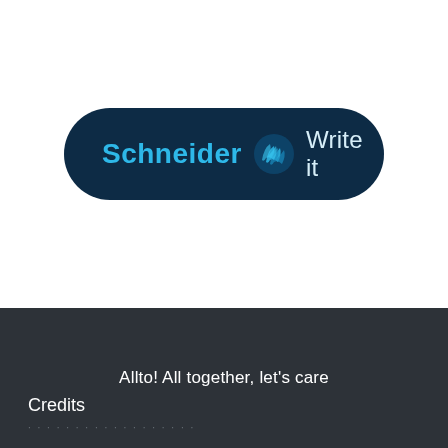[Figure (logo): Schneider 'Write it' logo — dark navy pill-shaped badge with cyan 'Schneider' text, stylized wave icon, and light blue 'Write it' text]
Allto! All together, let's care
Credits